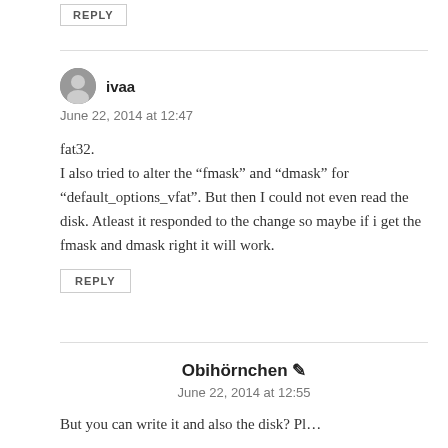REPLY
ivaa
June 22, 2014 at 12:47
fat32.
I also tried to alter the “fmask” and “dmask” for “default_options_vfat”. But then I could not even read the disk. Atleast it responded to the change so maybe if i get the fmask and dmask right it will work.
REPLY
Obihörnchen
June 22, 2014 at 12:55
But you can write it and also the disk? Pl...